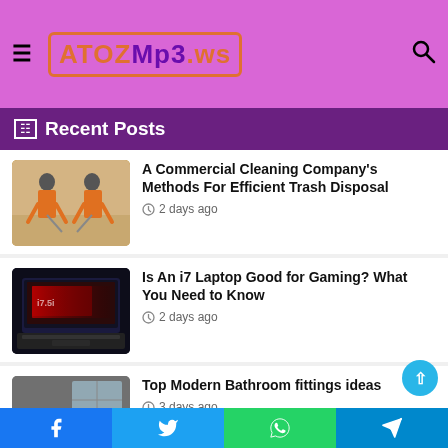ATOZMp3.ws
Recent Posts
[Figure (photo): Two workers in orange uniforms cleaning a floor]
A Commercial Cleaning Company's Methods For Efficient Trash Disposal
2 days ago
[Figure (photo): Gaming laptop with red backlit display]
Is An i7 Laptop Good for Gaming? What You Need to Know
2 days ago
[Figure (photo): Modern bathroom with dark fittings and round rug]
Top Modern Bathroom fittings ideas
3 days ago
[Figure (photo): Parcels and dropship boxes]
EPROLO Dropship – Dropship Everything in the USA for E...